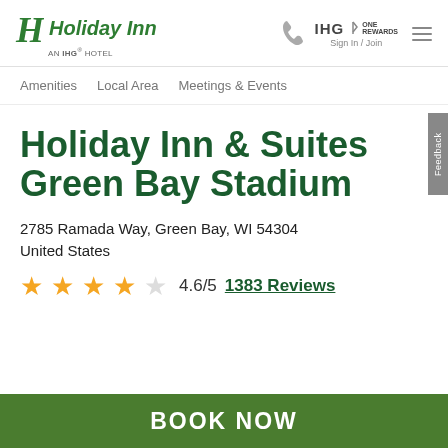[Figure (logo): Holiday Inn logo with green H icon and 'Holiday Inn AN IHG® HOTEL' text]
[Figure (logo): IHG One Rewards logo with phone icon and Sign In / Join text, plus hamburger menu]
Amenities   Local Area   Meetings & Events
Holiday Inn & Suites Green Bay Stadium
2785 Ramada Way, Green Bay, WI 54304
United States
★★★★☆ 4.6/5  1383 Reviews
BOOK NOW